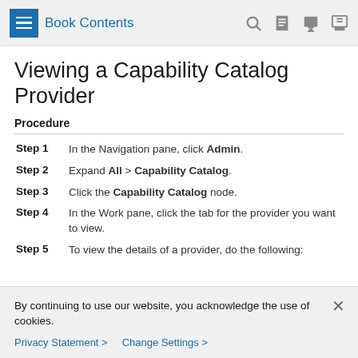Book Contents
Viewing a Capability Catalog Provider
Procedure
Step 1 In the Navigation pane, click Admin.
Step 2 Expand All > Capability Catalog.
Step 3 Click the Capability Catalog node.
Step 4 In the Work pane, click the tab for the provider you want to view.
Step 5 To view the details of a provider, do the following:
By continuing to use our website, you acknowledge the use of cookies.
Privacy Statement > Change Settings >